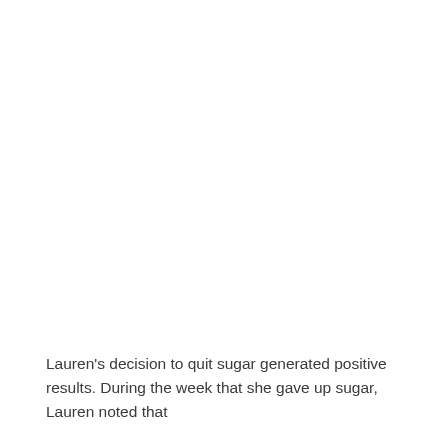Lauren's decision to quit sugar generated positive results. During the week that she gave up sugar, Lauren noted that